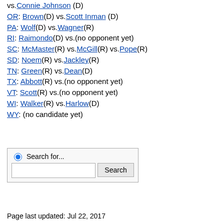vs.Connie Johnson (D) OR: Brown(D) vs.Scott Inman (D) PA: Wolf(D) vs.Wagner(R) RI: Raimondo(D) vs.(no opponent yet) SC: McMaster(R) vs.McGill(R) vs.Pope(R) SD: Noem(R) vs.Jackley(R) TN: Green(R) vs.Dean(D) TX: Abbott(R) vs.(no opponent yet) VT: Scott(R) vs.(no opponent yet) WI: Walker(R) vs.Harlow(D) WY: (no candidate yet)
Search for...
Page last updated: Jul 22, 2017